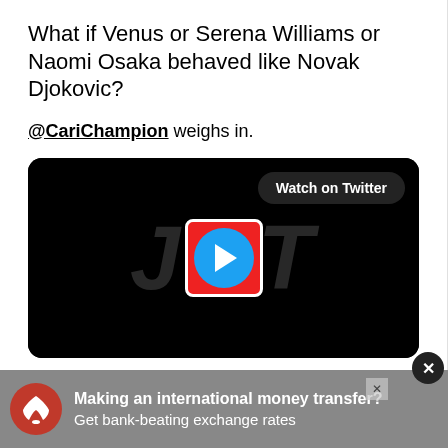What if Venus or Serena Williams or Naomi Osaka behaved like Novak Djokovic?
@CariChampion weighs in.
[Figure (screenshot): Embedded Twitter video player with dark background, 'Watch on Twitter' button in top right, large faded italic letters in background, and a circular blue play button centered on the video thumbnail.]
[Figure (other): Advertisement banner at bottom of page with red circular logo containing a white eagle, text reading 'Making an international money transfer? Get bank-beating exchange rates' on grey background, with close X button.]